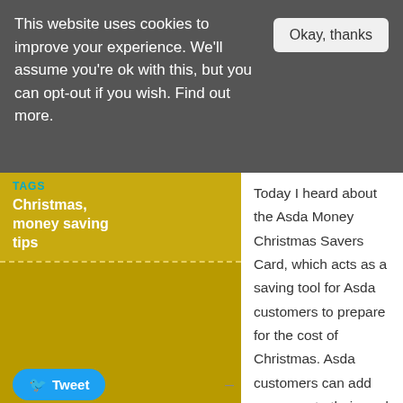This website uses cookies to improve your experience. We'll assume you're ok with this, but you can opt-out if you wish. Find out more.
Okay, thanks
TAGS
Christmas, money saving tips
Tweet
Save
Today I heard about the Asda Money Christmas Savers Card, which acts as a saving tool for Asda customers to prepare for the cost of Christmas. Asda customers can add money onto their card at the checkout each time they shop.
The maximum amount customers are able to load onto their cards is £144. To reward customers for their savings Asda pays a bonus, or interest, onto the card which can be spent however the customer wishes either at Christmas or in the New Year in store. It's not much, but as a rival says, Every Little Helps:
For saving £144 – the customer is awarded £6
For saving £97 – the customer is awarded £3